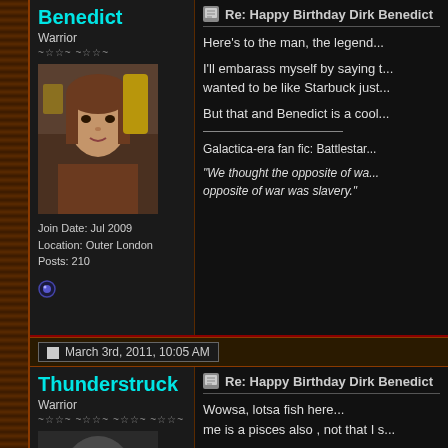Benedict
Warrior
Join Date: Jul 2009
Location: Outer London
Posts: 210
Re: Happy Birthday Dirk Benedict
Here's to the man, the legend...

I'll embarass myself by saying that I wanted to be like Starbuck just...

But that and Benedict is a cool...

Galactica-era fan fic: Battlestar...

"We thought the opposite of wa... opposite of war was slavery."
March 3rd, 2011, 10:05 AM
Thunderstruck
Warrior
Re: Happy Birthday Dirk Benedict
Wowsa, lotsa fish here...
me is a pisces also , not that I s...

HBD Mr. Benedict.

-ever get that feeling from a mo... that is what it does to me.